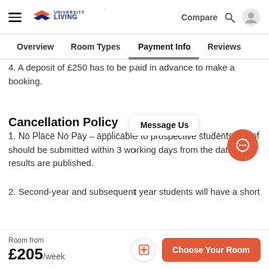[Figure (logo): University Living logo with hamburger menu on left and Compare, search, user icons on right]
Overview   Room Types   Payment Info   Reviews
4. A deposit of £250 has to be paid in advance to make a booking.
Cancellation Policy
1. No Place No Pay – applicable to prospective students. Proof should be submitted within 3 working days from the date results are published.
2. Second-year and subsequent year students will have a short
Room from
£205/week
Message Us
Choose Your Room